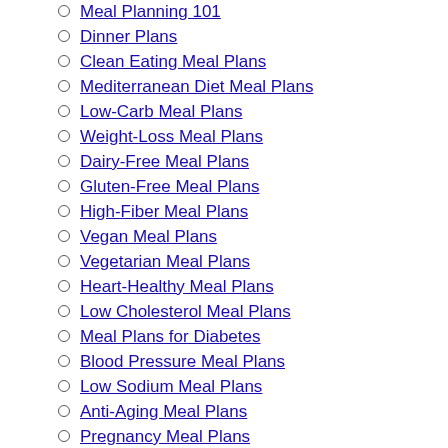Meal Planning 101
Dinner Plans
Clean Eating Meal Plans
Mediterranean Diet Meal Plans
Low-Carb Meal Plans
Weight-Loss Meal Plans
Dairy-Free Meal Plans
Gluten-Free Meal Plans
High-Fiber Meal Plans
Vegan Meal Plans
Vegetarian Meal Plans
Heart-Healthy Meal Plans
Low Cholesterol Meal Plans
Meal Plans for Diabetes
Blood Pressure Meal Plans
Low Sodium Meal Plans
Anti-Aging Meal Plans
Pregnancy Meal Plans
Healthy Kids Meal Plans
ThePrep
Healthy Eating ⌄
[Figure (other): Back navigation button with left arrow icon]
Healthy Eating